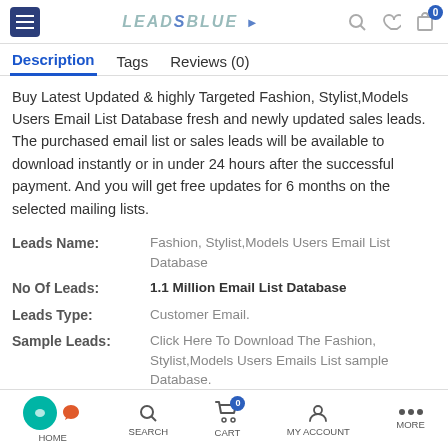LEADSBLUE (navigation bar with menu, logo, search, wishlist, cart icons)
Description | Tags | Reviews (0)
Buy Latest Updated & highly Targeted Fashion, Stylist,Models Users Email List Database fresh and newly updated sales leads. The purchased email list or sales leads will be available to download instantly or in under 24 hours after the successful payment. And you will get free updates for 6 months on the selected mailing lists.
| Field | Value |
| --- | --- |
| Leads Name: | Fashion, Stylist,Models Users Email List Database |
| No Of Leads: | 1.1 Million Email List Database |
| Leads Type: | Customer Email. |
| Sample Leads: | Click Here To Download The Fashion, Stylist,Models Users Emails List sample Database. |
HOME | SEARCH | CART | MY ACCOUNT | MORE